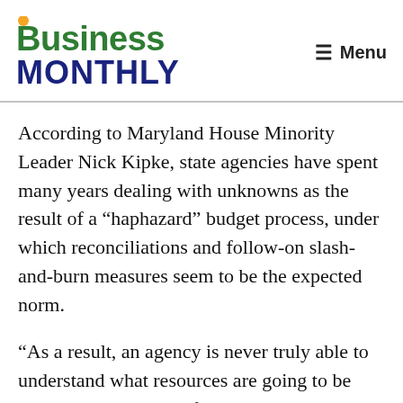Business Monthly
According to Maryland House Minority Leader Nick Kipke, state agencies have spent many years dealing with unknowns as the result of a “haphazard” budget process, under which reconciliations and follow-on slash-and-burn measures seem to be the expected norm.
“As a result, an agency is never truly able to understand what resources are going to be available, and many of those things are serious issues like caring for the disabled and social services,” he said, voicing his support